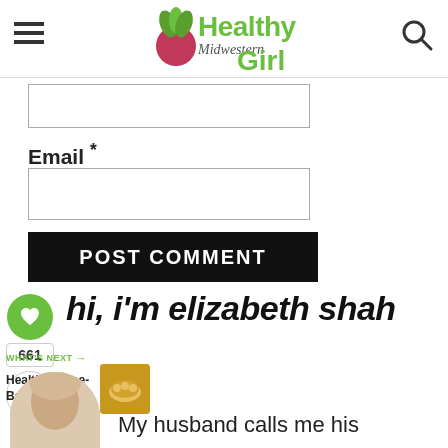Healthy Midwestern Girl (logo)
Email *
[Figure (screenshot): Email input field (empty text box)]
POST COMMENT
[Figure (infographic): Social sidebar: heart/like button, count 661, share button]
hi, i'm elizabeth shah
WHAT'S NEXT → Healthy Twice-Baked...
My husband calls me his